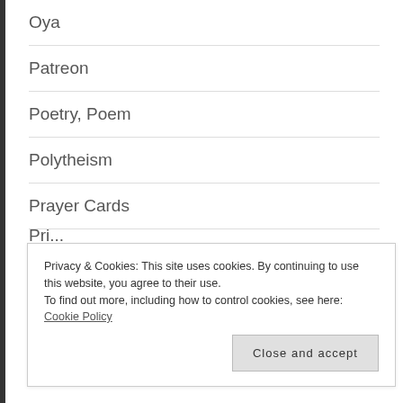Oya
Patreon
Poetry, Poem
Polytheism
Prayer Cards
Prayers
Pri...
Privacy & Cookies: This site uses cookies. By continuing to use this website, you agree to their use.
To find out more, including how to control cookies, see here: Cookie Policy
Close and accept